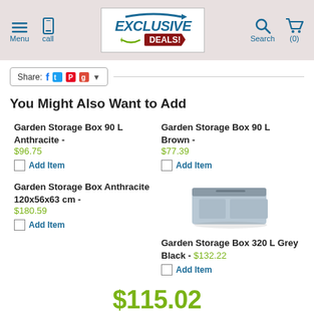Menu | call | EXCLUSIVE DEALS! | Search | (0)
Share:
You Might Also Want to Add
Garden Storage Box 90 L Anthracite - $96.75
Add Item
Garden Storage Box 90 L Brown - $77.39
Add Item
Garden Storage Box Anthracite 120x56x63 cm - $180.59
Add Item
[Figure (photo): Garden storage box, grey/blue color, rectangular shape]
Garden Storage Box 320 L Grey Black - $132.22
Add Item
$115.02